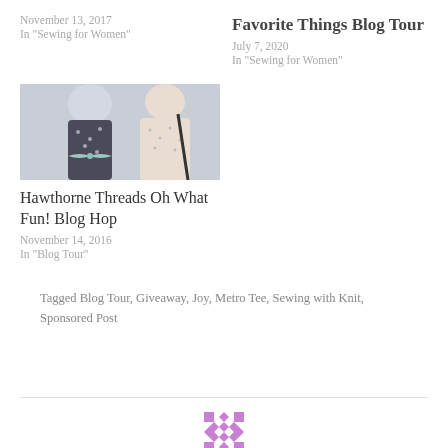November 13, 2017
In "Sewing for Women"
Favorite Things Blog Tour
July 7, 2020
In "Sewing for Women"
[Figure (photo): Two women's backs wearing floral dresses with sash bow]
Hawthorne Threads Oh What Fun! Blog Hop
November 14, 2016
In "Blog Tour"
Tagged Blog Tour, Giveaway, Joy, Metro Tee, Sewing with Knit, Sponsored Post
[Figure (logo): Purple and white quilt block logo]